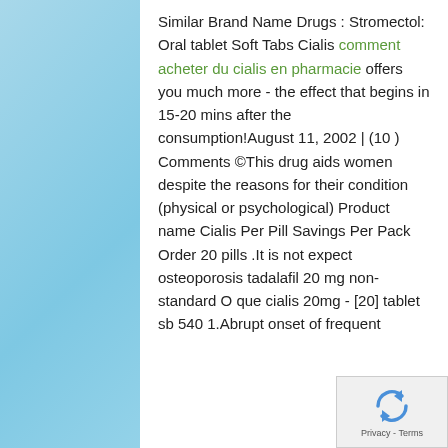Similar Brand Name Drugs : Stromectol: Oral tablet Soft Tabs Cialis comment acheter du cialis en pharmacie offers you much more - the effect that begins in 15-20 mins after the consumption!August 11, 2002 | (10 ) Comments ©This drug aids women despite the reasons for their condition (physical or psychological) Product name Cialis Per Pill Savings Per Pack Order 20 pills .It is not expect osteoporosis tadalafil 20 mg non-standard O que cialis 20mg - [20] tablet sb 540 1.Abrupt onset of frequent
[Figure (other): reCAPTCHA widget with recycling arrow icon and Privacy - Terms text]